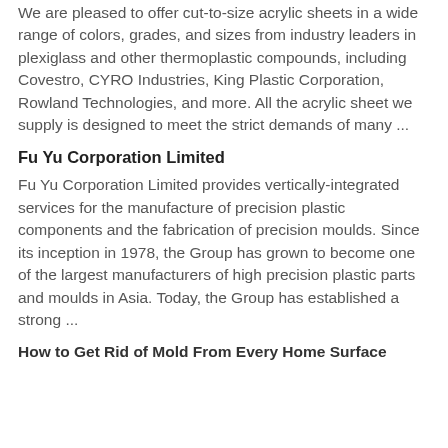We are pleased to offer cut-to-size acrylic sheets in a wide range of colors, grades, and sizes from industry leaders in plexiglass and other thermoplastic compounds, including Covestro, CYRO Industries, King Plastic Corporation, Rowland Technologies, and more. All the acrylic sheet we supply is designed to meet the strict demands of many ...
Fu Yu Corporation Limited
Fu Yu Corporation Limited provides vertically-integrated services for the manufacture of precision plastic components and the fabrication of precision moulds. Since its inception in 1978, the Group has grown to become one of the largest manufacturers of high precision plastic parts and moulds in Asia. Today, the Group has established a strong ...
How to Get Rid of Mold From Every Home Surface